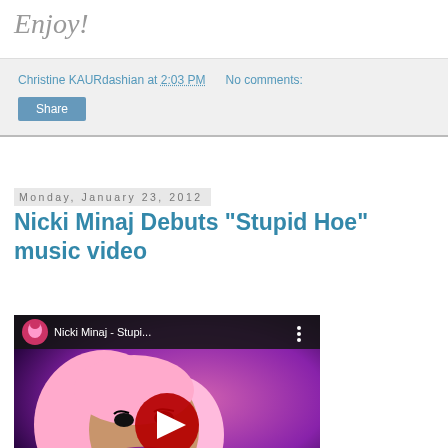Enjoy!
Christine KAURdashian at 2:03 PM   No comments:
Share
Monday, January 23, 2012
Nicki Minaj Debuts "Stupid Hoe" music video
[Figure (screenshot): YouTube video thumbnail for 'Nicki Minaj - Stupi...' showing Nicki Minaj with pink hair against a purple background, with a red YouTube play button in the center and the vevo logo in the bottom left.]